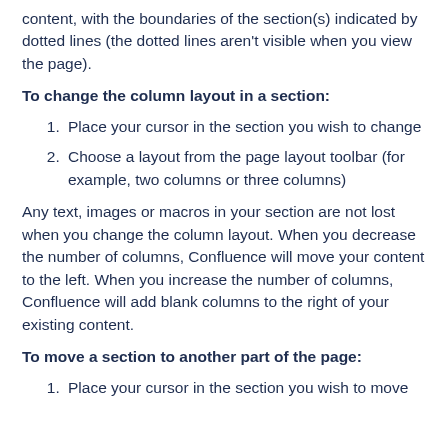content, with the boundaries of the section(s) indicated by dotted lines (the dotted lines aren't visible when you view the page).
To change the column layout in a section:
Place your cursor in the section you wish to change
Choose a layout from the page layout toolbar (for example, two columns or three columns)
Any text, images or macros in your section are not lost when you change the column layout. When you decrease the number of columns, Confluence will move your content to the left. When you increase the number of columns, Confluence will add blank columns to the right of your existing content.
To move a section to another part of the page:
Place your cursor in the section you wish to move